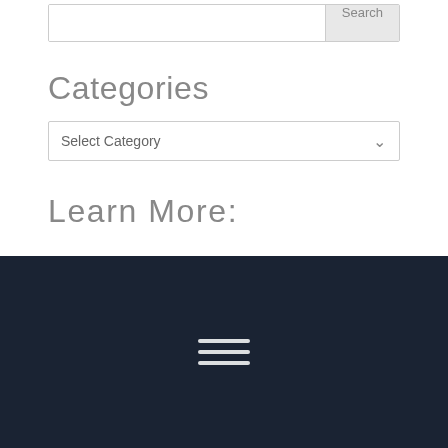Search
Categories
Select Category
Learn More:
[Figure (other): Hamburger menu icon with three horizontal white lines on dark navy background]